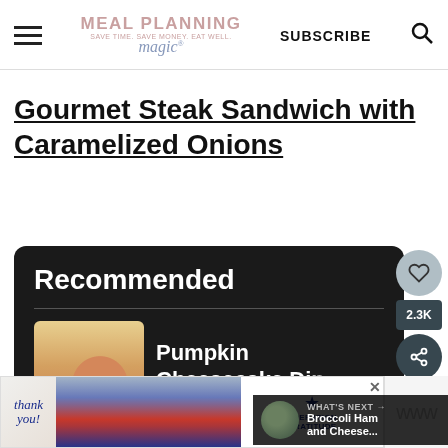Meal Planning Magic — SUBSCRIBE
Gourmet Steak Sandwich with Caramelized Onions
[Figure (screenshot): Dark recommended content box with 'Recommended' heading, divider, and Pumpkin Cheesecake Dip item with food image]
Pumpkin Cheesecake Dip
WHAT'S NEXT → Broccoli Ham and Cheese...
[Figure (photo): Operation Gratitude advertisement banner with 'Thank you' text and firefighters photo]